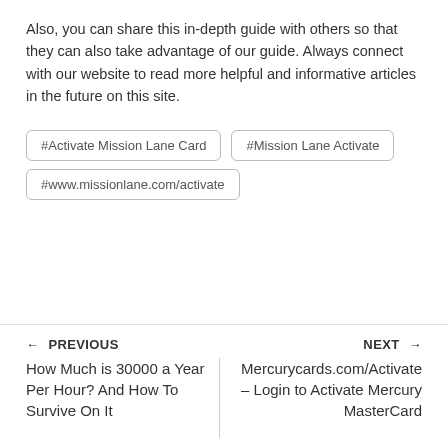Also, you can share this in-depth guide with others so that they can also take advantage of our guide. Always connect with our website to read more helpful and informative articles in the future on this site.
#Activate Mission Lane Card
#Mission Lane Activate
#www.missionlane.com/activate
← PREVIOUS
How Much is 30000 a Year Per Hour? And How To Survive On It
NEXT →
Mercurycards.com/Activate – Login to Activate Mercury MasterCard